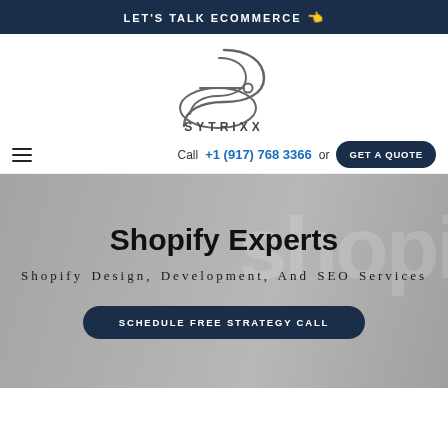LET'S TALK ECOMMERCE 👈
[Figure (logo): Sytrixx logo — stylized S-curve line with a circle, above the text SYTRIXX in spaced capital letters]
Call +1 (917) 768 3366 or GET A QUOTE
Shopify Experts
Shopify Design, Development, And SEO Services
SCHEDULE FREE STRATEGY CALL